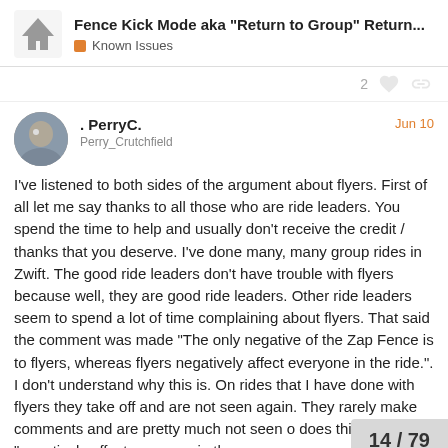Fence Kick Mode aka “Return to Group” Return... | Known Issues
2
. PerryC.
Perry_Crutchfield
Jun 10
I’ve listened to both sides of the argument about flyers. First of all let me say thanks to all those who are ride leaders. You spend the time to help and usually don’t receive the credit / thanks that you deserve. I’ve done many, many group rides in Zwift. The good ride leaders don’t have trouble with flyers because well, they are good ride leaders. Other ride leaders seem to spend a lot of time complaining about flyers. That said the comment was made “The only negative of the Zap Fence is to flyers, whereas flyers negatively affect everyone in the ride.”. I don’t understand why this is. On rides that I have done with flyers they take off and are not seen again. They rarely make comments and are pretty much not seen o[n...] does this “negatively affect everyone in the[...]
14 / 79